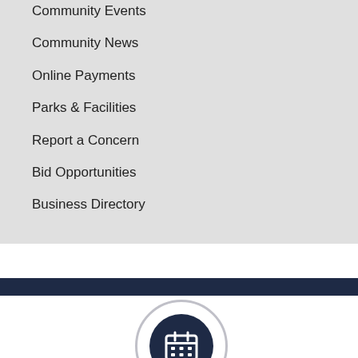Community Events
Community News
Online Payments
Parks & Facilities
Report a Concern
Bid Opportunities
Business Directory
[Figure (illustration): Calendar icon in a dark navy circle with a light gray outer ring, partially visible at bottom of page]